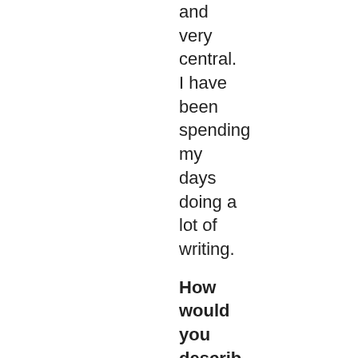and very central. I have been spending my days doing a lot of writing.
How would you describe the atmosphere of the Chelsea There is an atmosphere of